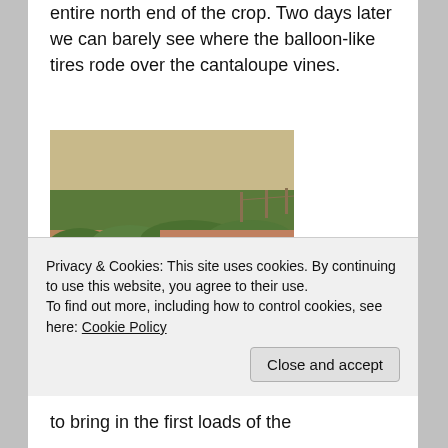entire north end of the crop. Two days later we can barely see where the balloon-like tires rode over the cantaloupe vines.
[Figure (photo): Field photograph showing rows of cantaloupe vines growing in reddish-brown soil, with green leafy plants in the foreground and middle ground, and crop rows receding into the background.]
Privacy & Cookies: This site uses cookies. By continuing to use this website, you agree to their use.
To find out more, including how to control cookies, see here: Cookie Policy
Close and accept
to bring in the first loads of the